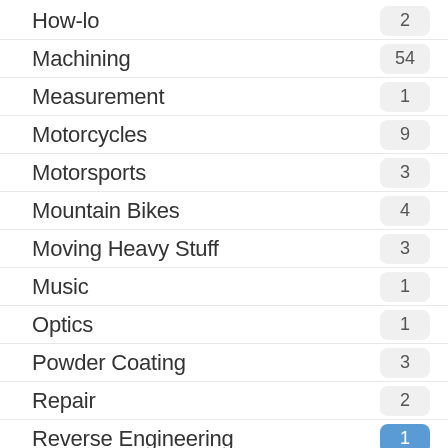How-lo  2
Machining  54
Measurement  1
Motorcycles  9
Motorsports  3
Mountain Bikes  4
Moving Heavy Stuff  3
Music  1
Optics  1
Powder Coating  3
Repair  2
Reverse Engineering  1